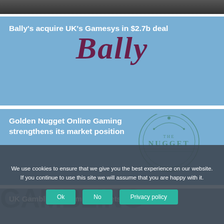[Figure (photo): Dark image strip at top of page]
[Figure (illustration): Blue card with Bally's logo - cursive italic dark red text reading 'Bally']
Bally's acquire UK's Gamesys in $2.7b deal
[Figure (illustration): Blue card with Golden Nugget emblem logo]
Golden Nugget Online Gaming strengthens its market position
[Figure (illustration): Dark blue-grey card with large background text GAMBLING COMMISSION]
UK Gambling Commission gets tough on
We use cookies to ensure that we give you the best experience on our website. If you continue to use this site we will assume that you are happy with it.